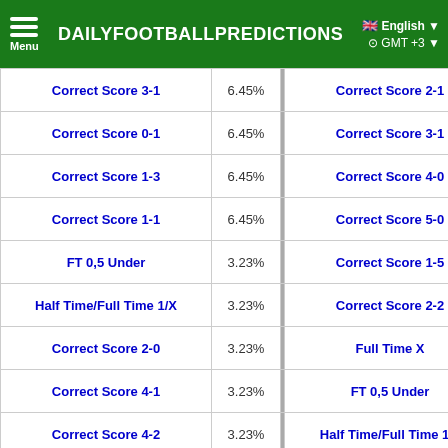DAILYFOOTBALLPREDICTIONS — English GMT+3
| Bet | % |  | Bet | % |
| --- | --- | --- | --- | --- |
| Correct Score 3-1 | 6.45% |  | Correct Score 2-1 | 6.67% |
| Correct Score 0-1 | 6.45% |  | Correct Score 3-1 | 6.67% |
| Correct Score 1-3 | 6.45% |  | Correct Score 4-0 | 6.67% |
| Correct Score 1-1 | 6.45% |  | Correct Score 5-0 | 6.67% |
| FT 0,5 Under | 3.23% |  | Correct Score 1-5 | 6.67% |
| Half Time/Full Time 1/X | 3.23% |  | Correct Score 2-2 | 6.67% |
| Correct Score 2-0 | 3.23% |  | Full Time X | 6.67% |
| Correct Score 4-1 | 3.23% |  | FT 0,5 Under | 0% |
| Correct Score 4-2 | 3.23% |  | Half Time/Full Time 1/2 | 0% |